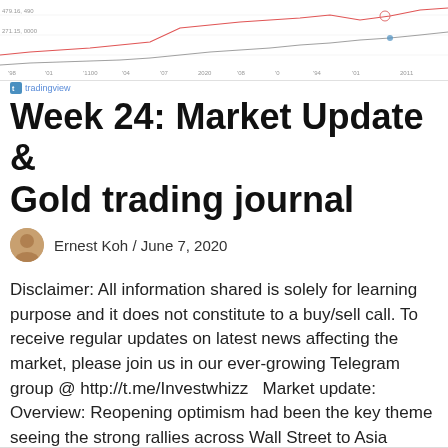[Figure (continuous-plot): A TradingView financial chart showing price lines (red and blue/grey) over time, with axis labels and gridlines. Price range roughly 270-490. Time axis spans from approximately 2018 to 2020.]
tradingview
Week 24: Market Update & Gold trading journal
Ernest Koh / June 7, 2020
Disclaimer: All information shared is solely for learning purpose and it does not constitute to a buy/sell call. To receive regular updates on latest news affecting the market, please join us in our ever-growing Telegram group @ http://t.me/Investwhizz   Market update: Overview: Reopening optimism had been the key theme seeing the strong rallies across Wall Street to Asia indices. That said, with the likes of the S&P 500 index having retraced three quarters… Read More »